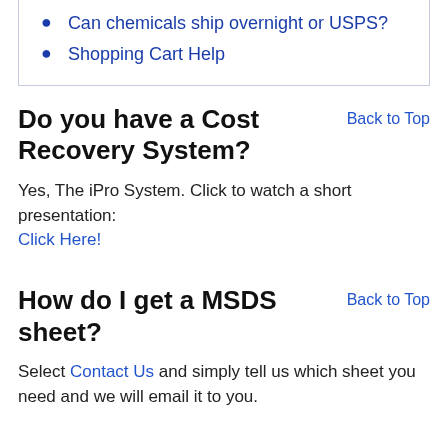Can chemicals ship overnight or USPS?
Shopping Cart Help
Do you have a Cost Recovery System?
Back to Top
Yes, The iPro System. Click to watch a short presentation: Click Here!
How do I get a MSDS sheet?
Back to Top
Select Contact Us and simply tell us which sheet you need and we will email it to you.